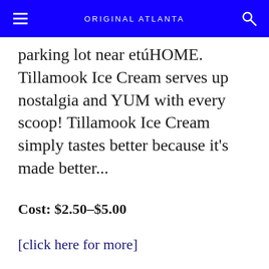ORIGINAL ATLANTA
parking lot near etúHOME. Tillamook Ice Cream serves up nostalgia and YUM with every scoop! Tillamook Ice Cream simply tastes better because it's made better...
Cost: $2.50-$5.00
[click here for more]
ETÚHOME HOSTS